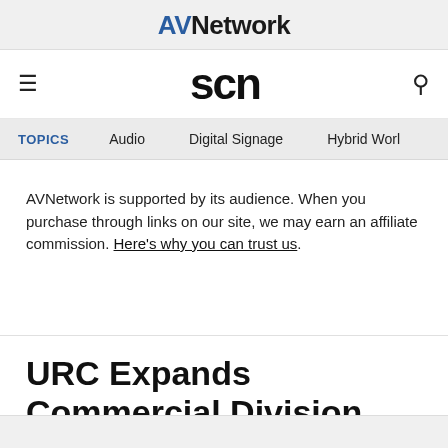AVNetwork
scn
TOPICS  Audio  Digital Signage  Hybrid Worl…
AVNetwork is supported by its audience. When you purchase through links on our site, we may earn an affiliate commission. Here's why you can trust us.
URC Expands Commercial Division